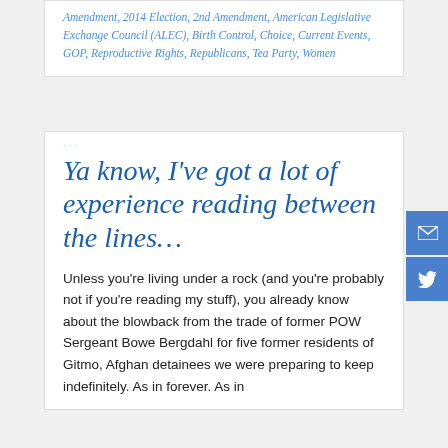Amendment, 2014 Election, 2nd Amendment, American Legislative Exchange Council (ALEC), Birth Control, Choice, Current Events, GOP, Reproductive Rights, Republicans, Tea Party, Women
Ya know, I've got a lot of experience reading between the lines…
Unless you're living under a rock (and you're probably not if you're reading my stuff), you already know about the blowback from the trade of former POW Sergeant Bowe Bergdahl for five former residents of Gitmo, Afghan detainees we were preparing to keep indefinitely. As in forever. As in